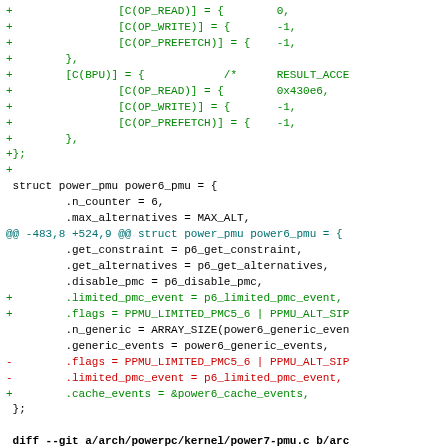Code diff showing additions and removals in power6-pmu.c and power7-pmu.c Linux kernel source files
[Figure (other): Source code diff of Linux kernel power PMU files showing green additions, red deletions, and blue context markers in monospace font]